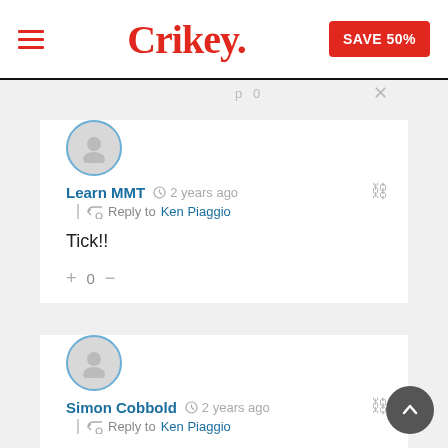Crikey. SAVE 50%
Learn MMT  2 years ago  Reply to Ken Piaggio
Tick!!
Simon Cobbold  2 years ago  Reply to Ken Piaggio
I couldn't agree more. The author's descriptions of increased revenue